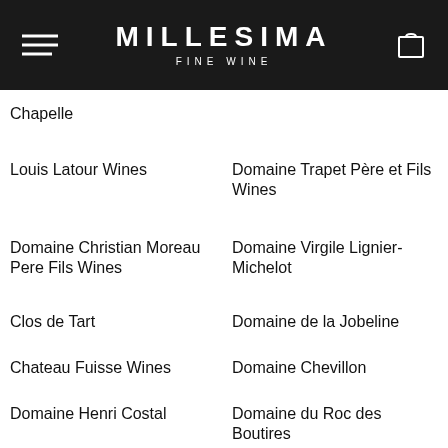MILLESIMA FINE WINE
Chapelle
Louis Latour Wines
Domaine Trapet Père et Fils Wines
Domaine Christian Moreau Pere Fils Wines
Domaine Virgile Lignier-Michelot
Clos de Tart
Domaine de la Jobeline
Chateau Fuisse Wines
Domaine Chevillon
Domaine Henri Costal
Domaine du Roc des Boutires